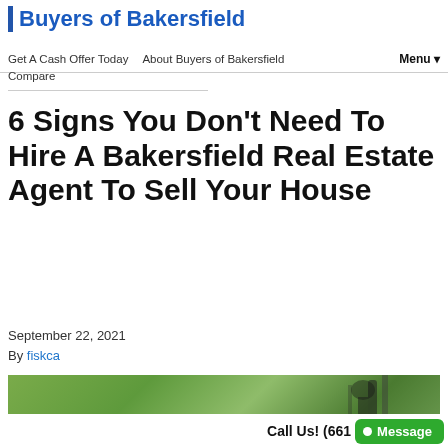Buyers of Bakersfield
Get A Cash Offer Today   About Buyers of Bakersfield   Menu ▼   Compare
6 Signs You Don't Need To Hire A Bakersfield Real Estate Agent To Sell Your House
September 22, 2021
By fiskca
[Figure (photo): Outdoor photo with green foliage background and a dark object (likely a camera or lock mechanism) visible]
Call Us! (661   Message